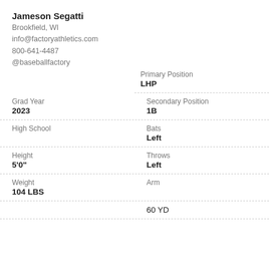Jameson Segatti
Brookfield, WI
info@factoryathletics.com
800-641-4487
@baseballfactory
Primary Position
LHP
Grad Year
2023
Secondary Position
1B
High School
Bats
Left
Height
5'0"
Throws
Left
Weight
104 LBS
Arm
60 YD